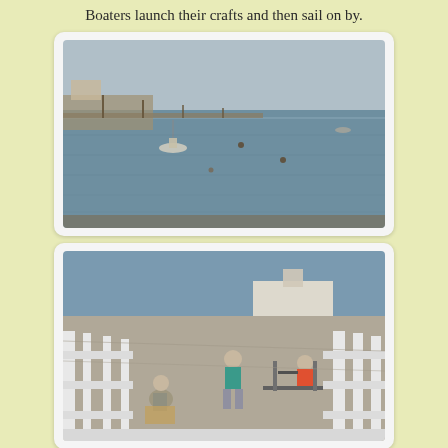Boaters launch their crafts and then sail on by.
[Figure (photo): Aerial or elevated view of a wide open bay or estuary with calm water. A marina with docked boats is visible on the left side. Several small boats and buoys are scattered across the water. The sky is overcast and gray.]
[Figure (photo): People on a waterfront dock or pier area. A person in a teal shirt is walking, another person is crouching on the ground near what appears to be crab cages or gear. Others are seated at a table in the background near a boat. White fencing lines the dock area.]
Crabbers patiently wait for their cages to fill up.